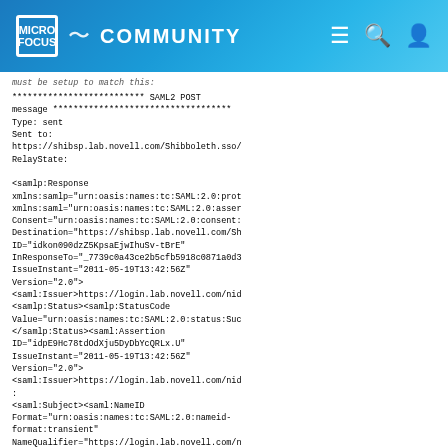MICRO FOCUS COMMUNITY
must be setup to match this:
************************** SAML2 POST message ***********************************
Type: sent
Sent to:
https://shibsp.lab.novell.com/Shibboleth.sso/
RelayState:

<samlp:Response
xmlns:samlp="urn:oasis:names:tc:SAML:2.0:prot
xmlns:saml="urn:oasis:names:tc:SAML:2.0:asser
Consent="urn:oasis:names:tc:SAML:2.0:consent:
Destination="https://shibsp.lab.novell.com/Sh
ID="idkon090dzZ5KpsaEjwIhuSv-tBrE"
InResponseTo="_7739c0a43ce2b5cfb5918c0871a0d3
IssueInstant="2011-05-19T13:42:56Z"
Version="2.0">
<saml:Issuer>https://login.lab.novell.com/nid
<samlp:Status><samlp:StatusCode
Value="urn:oasis:names:tc:SAML:2.0:status:Suc
</samlp:Status><saml:Assertion
ID="idpE9Hc78tdOdXju5DyDbYcQRLx.U"
IssueInstant="2011-05-19T13:42:56Z"
Version="2.0">
<saml:Issuer>https://login.lab.novell.com/nid
:
<saml:Subject><saml:NameID
Format="urn:oasis:names:tc:SAML:2.0:nameid-
format:transient"
NameQualifier="https://login.lab.novell.com/n
SPNameQualifier="https://shibsp.lab.novell.co
CUwLLs5s_49Q==</saml:NameID>
<saml:SubjectConfirmation